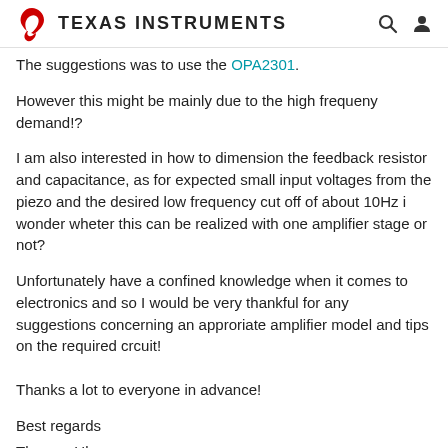Texas Instruments
The suggestions was to use the OPA2301.
However this might be mainly due to the high frequeny demand!?
I am also interested in how to dimension the feedback resistor and capacitance, as for expected small input voltages from the piezo and the desired low frequency cut off of about 10Hz i wonder wheter this can be realized with one amplifier stage or not?
Unfortunately have a confined knowledge when it comes to electronics and so I would be very thankful for any suggestions concerning an approriate amplifier model and tips on the required crcuit!
Thanks a lot to everyone in advance!
Best regards
Thomas Ules